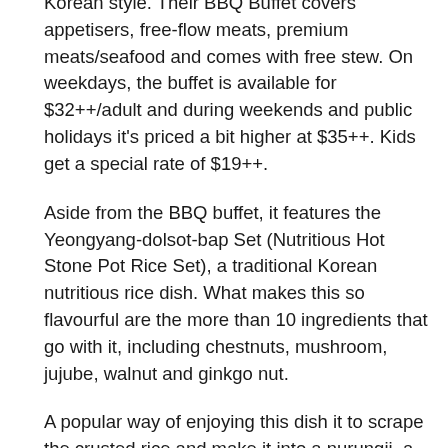Korean style. Their BBQ Buffet covers appetisers, free-flow meats, premium meats/seafood and comes with free stew. On weekdays, the buffet is available for $32++/adult and during weekends and public holidays it's priced a bit higher at $35++. Kids get a special rate of $19++.
Aside from the BBQ buffet, it features the Yeongyang-dolsot-bap Set (Nutritious Hot Stone Pot Rice Set), a traditional Korean nutritious rice dish. What makes this so flavourful are the more than 10 ingredients that go with it, including chestnuts, mushroom, jujube, walnut and ginkgo nut.
A popular way of enjoying this dish it to scrape the crusted rice and make it into a nurungji, a fragrant crusted rice porridge, in the hot stone pot.
With this set, you can pick from various appetisers such as Seafood Pancake, Kimchi Pancake or Steam Egg, marinated